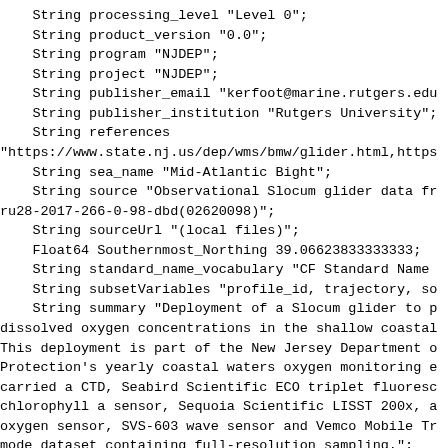String processing_level "Level 0";
    String product_version "0.0";
    String program "NJDEP";
    String project "NJDEP";
    String publisher_email "kerfoot@marine.rutgers.edu
    String publisher_institution "Rutgers University";
    String references
"https://www.state.nj.us/dep/wms/bmw/glider.html,https
    String sea_name "Mid-Atlantic Bight";
    String source "Observational Slocum glider data fr
ru28-2017-266-0-98-dbd(02620098)";
    String sourceUrl "(local files)";
    Float64 Southernmost_Northing 39.06623833333333;
    String standard_name_vocabulary "CF Standard Name
    String subsetVariables "profile_id, trajectory, so
    String summary "Deployment of a Slocum glider to p
dissolved oxygen concentrations in the shallow coastal
This deployment is part of the New Jersey Department o
Protection's yearly coastal waters oxygen monitoring e
carried a CTD, Seabird Scientific ECO triplet fluoresc
chlorophyll a sensor, Sequoia Scientific LISST 200x, a
oxygen sensor, SVS-603 wave sensor and Vemco Mobile Tr
mode dataset containing full-resolution sampling.";
    String time_coverage_duration "PT22.1315S";
    String time_coverage_end "2017-10-03T12:40:34Z";
    String time_coverage_resolution "PT01S";